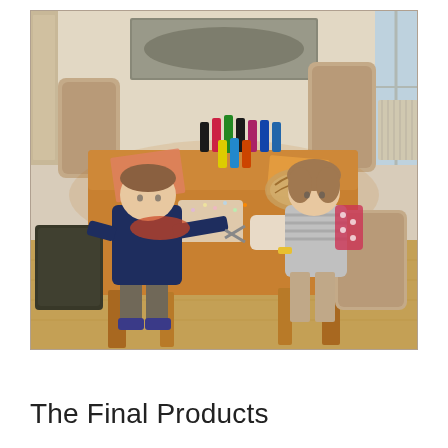[Figure (photo): Two children sitting at a wooden dining table doing arts and crafts. A boy in a navy blue sweater sits on the left cutting something with scissors, and a younger girl in a striped top sits on the right working on a wicker basket. The table is covered with paint bottles, craft supplies, paper, glitter and decorations. The room has beige/cream walls, a framed black and white photo on the wall, a window on the right, and light wood flooring. Upholstered dining chairs surround the table.]
The Final Products